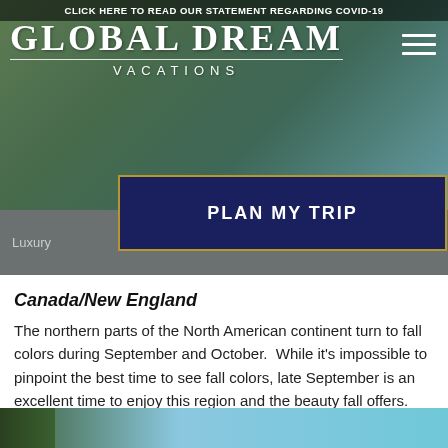CLICK HERE TO READ OUR STATEMENT REGARDING COVID-19
[Figure (logo): Global Dream Vacations logo with white serif text on scenic background]
PLAN MY TRIP
Luxury ... Island
Canada/New England
The northern parts of the North American continent turn to fall colors during September and October.  While it’s impossible to pinpoint the best time to see fall colors, late September is an excellent time to enjoy this region and the beauty fall offers.
[Figure (photo): Bottom portion of a scenic outdoor photo showing trees and water]